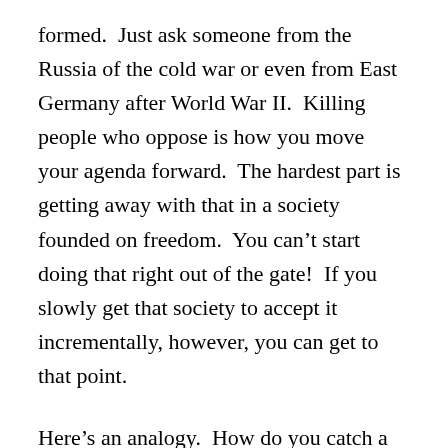formed.  Just ask someone from the Russia of the cold war or even from East Germany after World War II.  Killing people who oppose is how you move your agenda forward.  The hardest part is getting away with that in a society founded on freedom.  You can’t start doing that right out of the gate!  If you slowly get that society to accept it incrementally, however, you can get to that point.
Here’s an analogy.  How do you catch a wild hog?  Step one is to set out food for it in a non-threatening environment.  The pig might be wary at first, but it will grow comfortable with the arrangement as long